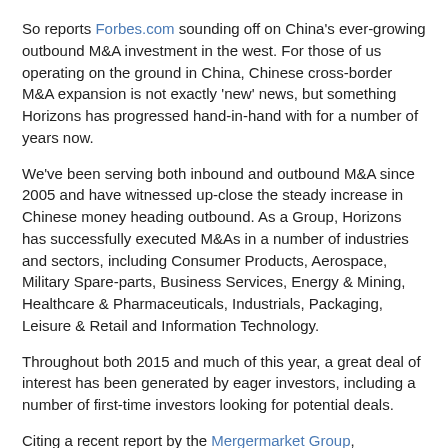So reports Forbes.com sounding off on China's ever-growing outbound M&A investment in the west. For those of us operating on the ground in China, Chinese cross-border M&A expansion is not exactly 'new' news, but something Horizons has progressed hand-in-hand with for a number of years now.
We've been serving both inbound and outbound M&A since 2005 and have witnessed up-close the steady increase in Chinese money heading outbound. As a Group, Horizons has successfully executed M&As in a number of industries and sectors, including Consumer Products, Aerospace, Military Spare-parts, Business Services, Energy & Mining, Healthcare & Pharmaceuticals, Industrials, Packaging, Leisure & Retail and Information Technology.
Throughout both 2015 and much of this year, a great deal of interest has been generated by eager investors, including a number of first-time investors looking for potential deals.
Citing a recent report by the Mergermarket Group, Forbes.com states that as of the end of August, China had already surpassed its yearly record for outbound M&A investment, acquiring key American and European companies at an unprecedented rate. Full story...